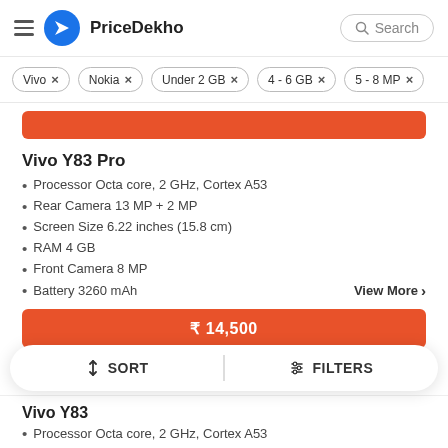PriceDekho
Vivo ×
Nokia ×
Under 2 GB ×
4 - 6 GB ×
5 - 8 MP ×
Vivo Y83 Pro
Processor Octa core, 2 GHz, Cortex A53
Rear Camera 13 MP + 2 MP
Screen Size 6.22 inches (15.8 cm)
RAM 4 GB
Front Camera 8 MP
Battery 3260 mAh
View More >
₹ 14,500
SORT   FILTERS
Vivo Y83
Processor Octa core, 2 GHz, Cortex A53